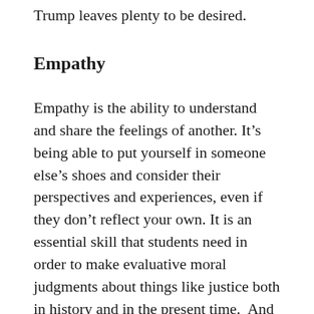Trump leaves plenty to be desired.
Empathy
Empathy is the ability to understand and share the feelings of another. It’s being able to put yourself in someone else’s shoes and consider their perspectives and experiences, even if they don’t reflect your own. It is an essential skill that students need in order to make evaluative moral judgments about things like justice both in history and in the present time.  And while empathy won’t always lead us to change our beliefs, it still has the power to